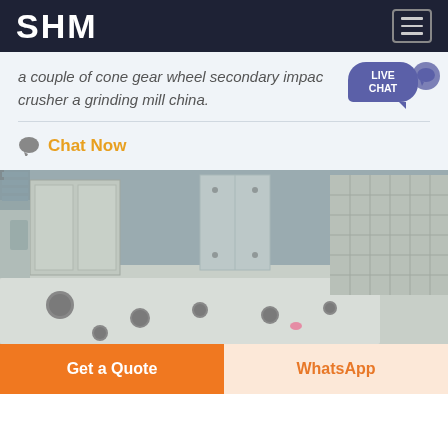SHM
a couple of cone gear wheel secondary impact crusher a grinding mill china.
Chat Now
[Figure (photo): Industrial photograph showing large grey metal crusher/mill frame components and machinery parts in a factory or warehouse setting, with a flat steel plate with multiple bolt holes in the foreground.]
Get a Quote
WhatsApp